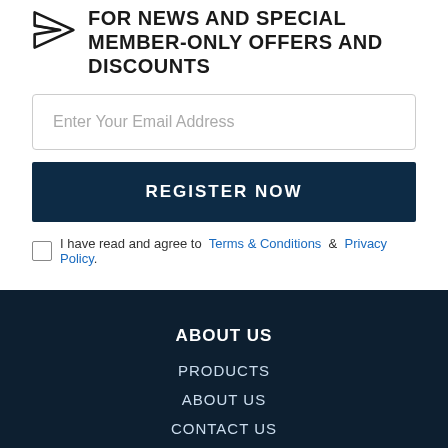FOR NEWS AND SPECIAL MEMBER-ONLY OFFERS AND DISCOUNTS
Enter Your Email Address
REGISTER NOW
I have read and agree to Terms & Conditions & Privacy Policy.
ABOUT US
PRODUCTS
ABOUT US
CONTACT US
INFORMATION
SHIPPING INFORMATION
RETURNS POLICY